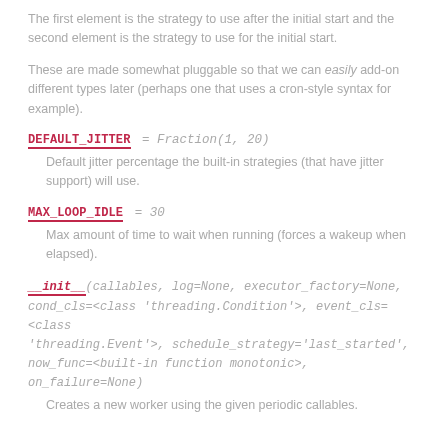The first element is the strategy to use after the initial start and the second element is the strategy to use for the initial start.
These are made somewhat pluggable so that we can easily add-on different types later (perhaps one that uses a cron-style syntax for example).
DEFAULT_JITTER = Fraction(1, 20)
Default jitter percentage the built-in strategies (that have jitter support) will use.
MAX_LOOP_IDLE = 30
Max amount of time to wait when running (forces a wakeup when elapsed).
__init__(callables, log=None, executor_factory=None, cond_cls=<class 'threading.Condition'>, event_cls=<class 'threading.Event'>, schedule_strategy='last_started', now_func=<built-in function monotonic>, on_failure=None)
Creates a new worker using the given periodic callables.